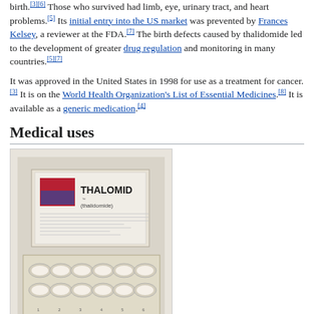birth.[3][6] Those who survived had limb, eye, urinary tract, and heart problems.[5] Its initial entry into the US market was prevented by Frances Kelsey, a reviewer at the FDA.[7] The birth defects caused by thalidomide led to the development of greater drug regulation and monitoring in many countries.[5][7]
It was approved in the United States in 1998 for use as a treatment for cancer.[3] It is on the World Health Organization's List of Essential Medicines.[8] It is available as a generic medication.[4]
Medical uses
[Figure (photo): Photograph of a pack of Thalomid (thalidomide) capsules in blister packaging with the box behind it.]
Pack of thalidomide capsules
Thalidomide is used as a first-line treatment in multiple myeloma to combined in with...